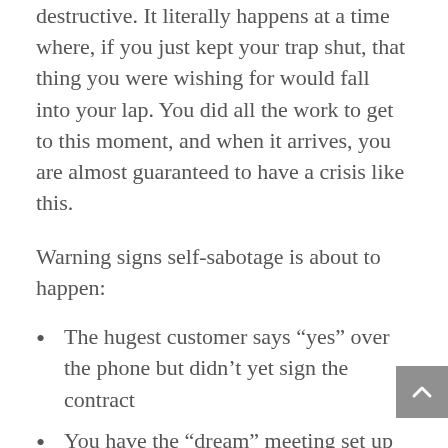destructive. It literally happens at a time where, if you just kept your trap shut, that thing you were wishing for would fall into your lap. You did all the work to get to this moment, and when it arrives, you are almost guaranteed to have a crisis like this.
Warning signs self-sabotage is about to happen:
The hugest customer says “yes” over the phone but didn’t yet sign the contract
You have the “dream” meeting set up with just the right person or company. (This could be in your personal life, too.)